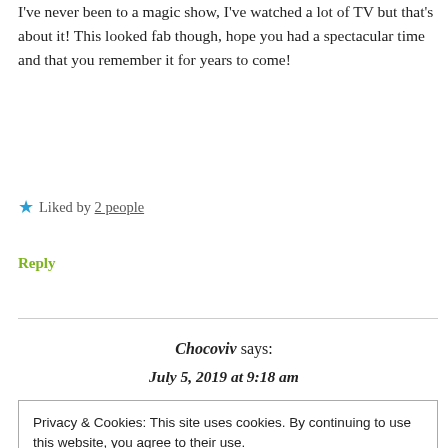I've never been to a magic show, I've watched a lot of TV but that's about it! This looked fab though, hope you had a spectacular time and that you remember it for years to come!
★ Liked by 2 people
Reply
Chocoviv says:
July 5, 2019 at 9:18 am
Privacy & Cookies: This site uses cookies. By continuing to use this website, you agree to their use.
To find out more, including how to control cookies, see here: Cookie Policy
Close and accept
Reply